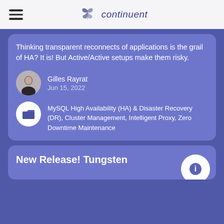continuent
Thinking transparent reconnects of applications is the grail of HA? It is! But Active/Active setups make them risky.
Gilles Rayrat
Jun 15, 2022
MySQL High Availability (HA) & Disaster Recovery (DR), Cluster Management, Intelligent Proxy, Zero Downtime Maintenance
New Release! Tungsten